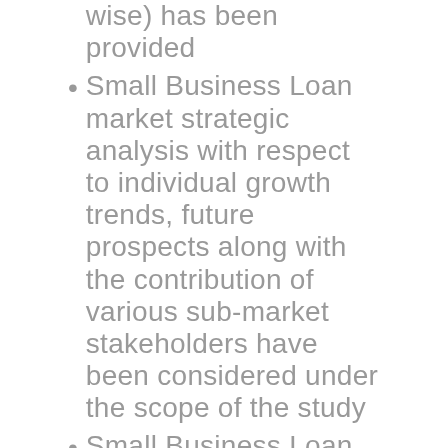wise) has been provided
Small Business Loan market strategic analysis with respect to individual growth trends, future prospects along with the contribution of various sub-market stakeholders have been considered under the scope of the study
Small Business Loan